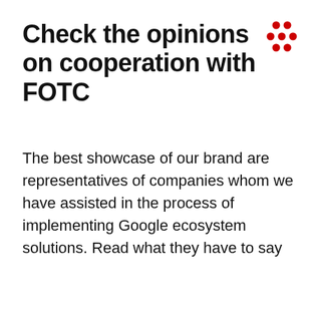Check the opinions on cooperation with FOTC
[Figure (logo): Red dot grid logo — 7 dots arranged in a triangular/cluster pattern in red color, FOTC brand mark]
The best showcase of our brand are representatives of companies whom we have assisted in the process of implementing Google ecosystem solutions. Read what they have to say